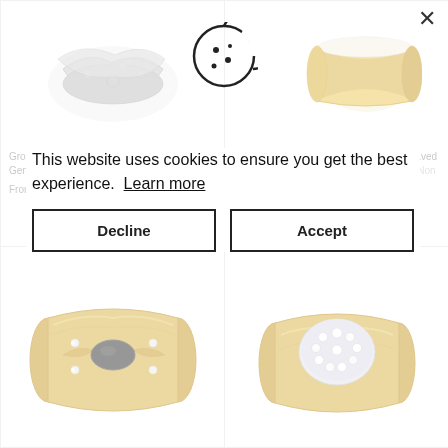[Figure (photo): Silver nugget-style rings shown in top-left product cell]
[Figure (photo): 14K yellow gold wide flat wedding band shown in top-right product cell]
Group of 7 Estate Nugget and Nugget Style Gents Rings in Sterling Silver
From $85.00 USD
14K Yellow Gold 8mm Flat Pipe Cut Engraved Wedding Band - "Vincit Quod Vicit Mors Non Separabit"
$1,075.00 USD
[Figure (illustration): Cookie icon SVG - circular cookie with bite taken out and dots]
This website uses cookies to ensure you get the best experience.  Learn more
Decline
Accept
[Figure (photo): Gold ring with black oval stone and diamond accents - bottom left]
[Figure (photo): Gold ring with pave diamond cluster dome top - bottom right]